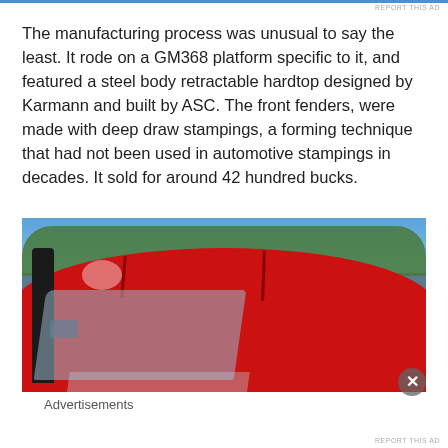The manufacturing process was unusual to say the least. It rode on a GM368 platform specific to it, and featured a steel body retractable hardtop designed by Karmann and built by ASC. The front fenders, were made with deep draw stampings, a forming technique that had not been used in automotive stampings in decades. It sold for around 42 hundred bucks.
[Figure (photo): Close-up photo of a red car with a retractable hardtop, showing the roof panels and rear window. Trees and blue sky visible in the background. Parking lot with vehicles reflected in the window.]
Advertisements